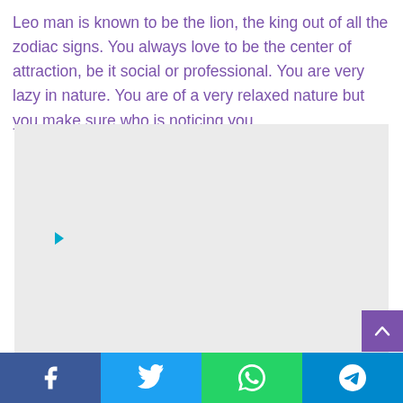Leo man is known to be the lion, the king out of all the zodiac signs. You always love to be the center of attraction, be it social or professional. You are very lazy in nature. You are of a very relaxed nature but you make sure who is noticing you.
[Figure (other): Gray advertisement placeholder box with a small play/arrow icon near the top-left interior area]
Facebook | Twitter | WhatsApp | Telegram share buttons